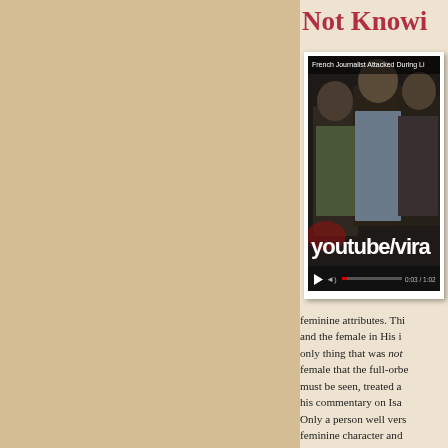Not Knowi
[Figure (screenshot): YouTube video screenshot showing 'French Journalist Attacked During Li...' with men in a dark scene, overlay text 'youtube/vira', video controls showing 0:03 / 1:02]
feminine attributes. This and the female in His i only thing that was not female that the full-orbe must be seen, treated a his commentary on Isa Only a person well vers feminine character and